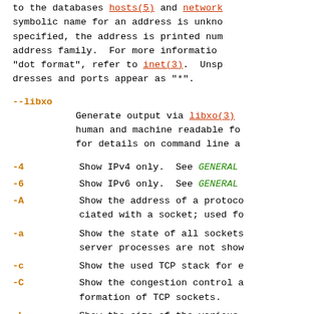to the databases hosts(5) and network symbolic name for an address is unknown, specified, the address is printed numerically by address family. For more information on "dot format", refer to inet(3). Unspecified addresses and ports appear as "*".
--libxo  Generate output via libxo(3) in a variety of human and machine readable formats. See xo_parse_args(3) for details on command line arguments.
-4  Show IPv4 only. See GENERAL OPTIONS.
-6  Show IPv6 only. See GENERAL OPTIONS.
-A  Show the address of a protocol control block associated with a socket; used for debugging.
-a  Show the state of all sockets; normally server processes are not shown.
-c  Show the used TCP stack for each connection.
-C  Show the congestion control algorithm and stack-specific information of TCP sockets.
-L  Show the size of the various listen queues.